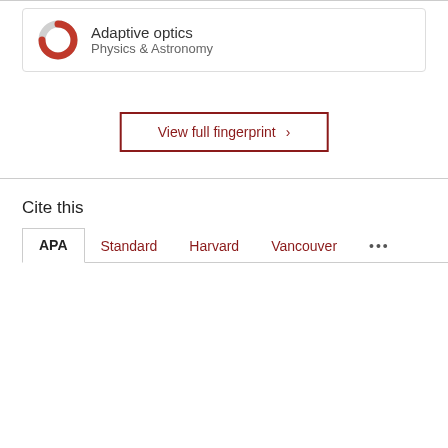[Figure (other): Adaptive optics fingerprint card with donut/ring icon (gray and red), title 'Adaptive optics', subtitle 'Physics & Astronomy']
View full fingerprint ›
Cite this
APA  Standard  Harvard  Vancouver  ···
Lumbres, J., Males, J., Douglas, E., Close, L., Guyon, O., Cahoy, K., Carlton, A., Clark, J., Doelman, D., Feinberg, L., Knight, J., Marlow, W., Miller, K., Morzinski, K., Por, E., Rodack, A., Schatz, L., Snik, F., Van Gorkom, K., & Wilby, M. (2018). Modeling coronagraphic extreme wavefront control systems for high contrast imaging in ground and space telescope missions. In D. Schmidt, L. Schreiber, & L. M. Close (Eds.), Adaptive Optics Systems VI [107034Z] (Proceedings of SPIE - The International